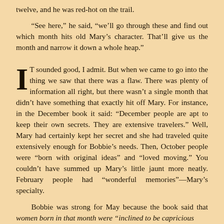twelve, and he was red-hot on the trail.
“See here,” he said, “we’ll go through these and find out which month hits old Mary’s character. That’ll give us the month and narrow it down a whole heap.”
IT sounded good, I admit. But when we came to go into the thing we saw that there was a flaw. There was plenty of information all right, but there wasn’t a single month that didn’t have something that exactly hit off Mary. For instance, in the December book it said: “December people are apt to keep their own secrets. They are extensive travelers.” Well, Mary had certainly kept her secret and she had traveled quite extensively enough for Bobbie’s needs. Then, October people were “born with original ideas” and “loved moving.” You couldn’t have summed up Mary’s little jaunt more neatly. February people had “wonderful memories”—Mary’s specialty.
Bobbie was strong for May because the book said that women born in that month were “inclined to be capricious.